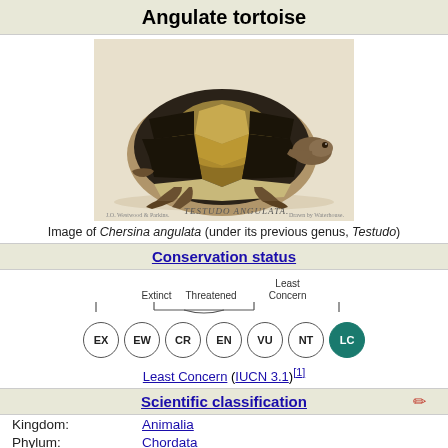Angulate tortoise
[Figure (illustration): Historical illustration of Chersina angulata (angulate tortoise) shown in profile with patterned shell, labeled TESTUDO ANGULATA at bottom]
Image of Chersina angulata (under its previous genus, Testudo)
Conservation status
[Figure (infographic): IUCN conservation status scale showing EX, EW, CR, EN, VU, NT circles under 'Threatened' brace, and LC (highlighted in teal) under 'Least Concern'. EX is under 'Extinct' label.]
Least Concern (IUCN 3.1)[1]
Scientific classification
| Rank | Name |
| --- | --- |
| Kingdom: | Animalia |
| Phylum: | Chordata |